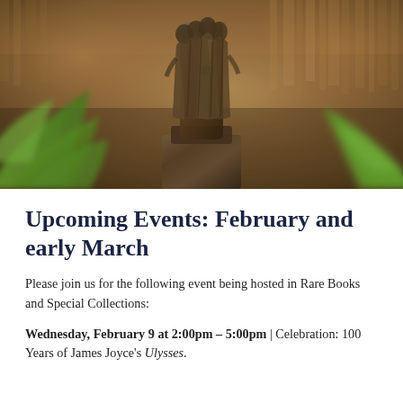[Figure (photo): Photo of a bronze sculptural figure with multiple human forms, surrounded by blurred green plant leaves in foreground, warm library interior with bookshelves in background.]
Upcoming Events: February and early March
Please join us for the following event being hosted in Rare Books and Special Collections:
Wednesday, February 9 at 2:00pm – 5:00pm | Celebration: 100 Years of James Joyce's Ulysses.